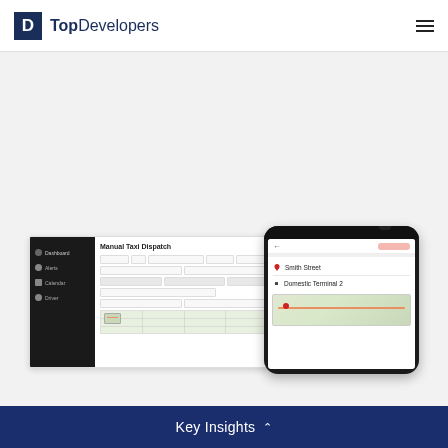TopDevelopers
[Figure (screenshot): Screenshot of a taxi dispatch management software showing a dark sidebar with Dashboard, Alerts, Calendar, Driver menu items, and a Manual Taxi Dispatch form panel with input fields and a map area. Overlapping with a smartphone displaying a route with Smith Street and Domestic Terminal 2 locations.]
Key Insights